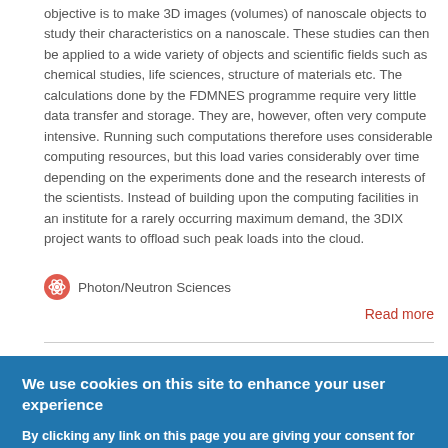objective is to make 3D images (volumes) of nanoscale objects to study their characteristics on a nanoscale. These studies can then be applied to a wide variety of objects and scientific fields such as chemical studies, life sciences, structure of materials etc. The calculations done by the FDMNES programme require very little data transfer and storage. They are, however, often very compute intensive. Running such computations therefore uses considerable computing resources, but this load varies considerably over time depending on the experiments done and the research interests of the scientists. Instead of building upon the computing facilities in an institute for a rarely occurring maximum demand, the 3DIX project wants to offload such peak loads into the cloud.
Photon/Neutron Sciences
Read more
We use cookies on this site to enhance your user experience
By clicking any link on this page you are giving your consent for us to set cookies.